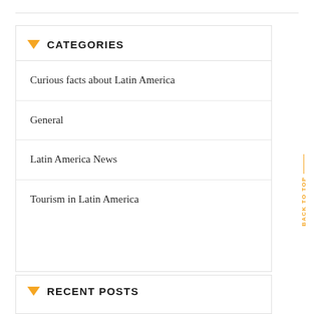CATEGORIES
Curious facts about Latin America
General
Latin America News
Tourism in Latin America
BACK TO TOP
RECENT POSTS